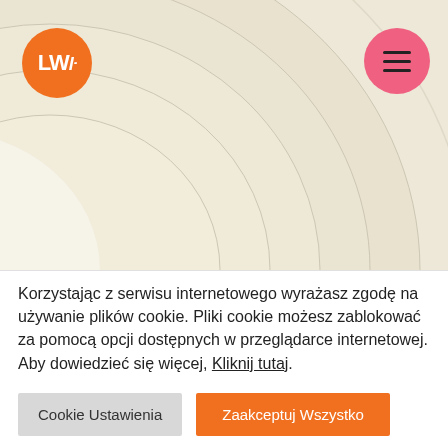[Figure (photo): Stacked concentric cream/beige circular wooden discs photographed from above, with an orange circular logo (LWH) on the top-left and a pink circular hamburger menu icon on the top-right.]
Korzystając z serwisu internetowego wyrażasz zgodę na używanie plików cookie. Pliki cookie możesz zablokować za pomocą opcji dostępnych w przeglądarce internetowej. Aby dowiedzieć się więcej, Kliknij tutaj.
Cookie Ustawienia
Zaakceptuj Wszystko